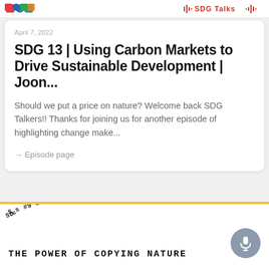SDG Talks
April 7, 2022
SDG 13 | Using Carbon Markets to Drive Sustainable Development | Joon...
Should we put a price on nature? Welcome back SDG Talkers!! Thanks for joining us for another episode of highlighting change make...
→ Episode page
[Figure (other): Bottom card showing SDGs #9 & 15, The Power of Copying Nature, with yellow top border and rotated handwritten-style text label]